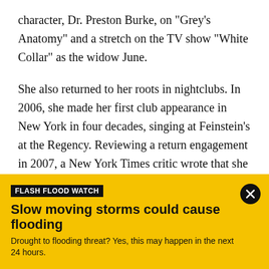character, Dr. Preston Burke, on "Grey's Anatomy" and a stretch on the TV show "White Collar" as the widow June.
She also returned to her roots in nightclubs. In 2006, she made her first club appearance in New York in four decades, singing at Feinstein's at the Regency. Reviewing a return engagement in 2007, a New York Times critic wrote that she sang "Both Sides Now" with "the reflective tone of a woman who has survived many severe storms and remembers every lightning flash and thunderclap."
FLASH FLOOD WATCH
Slow moving storms could cause flooding
Drought to flooding threat? Yes, this may happen in the next 24 hours.